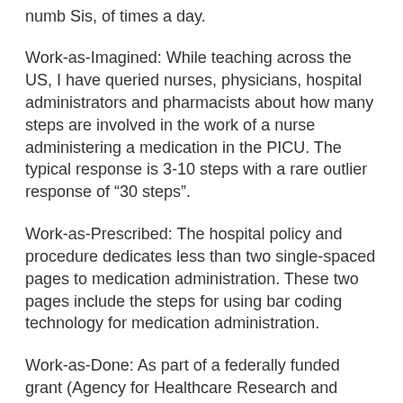Work-as-Imagined: While teaching across the US, I have queried nurses, physicians, hospital administrators and pharmacists about how many steps are involved in the work of a nurse administering a medication in the PICU. The typical response is 3-10 steps with a rare outlier response of “30 steps”.
Work-as-Prescribed: The hospital policy and procedure dedicates less than two single-spaced pages to medication administration. These two pages include the steps for using bar coding technology for medication administration.
Work-as-Done: As part of a federally funded grant (Agency for Healthcare Research and Quality RO1 HS013610), we studied medication administration in our